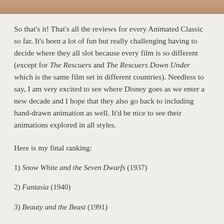[Figure (photo): Photo strip at the top of the page, partially visible image]
So that's it! That's all the reviews for every Animated Classic so far. It's been a lot of fun but really challenging having to decide where they all slot because every film is so different (except for The Rescuers and The Rescuers Down Under which is the same film set in different countries). Needless to say, I am very excited to see where Disney goes as we enter a new decade and I hope that they also go back to including hand-drawn animation as well. It'd be nice to see their animations explored in all styles.
Here is my final ranking:
1) Snow White and the Seven Dwarfs (1937)
2) Fantasia (1940)
3) Beauty and the Beast (1991)